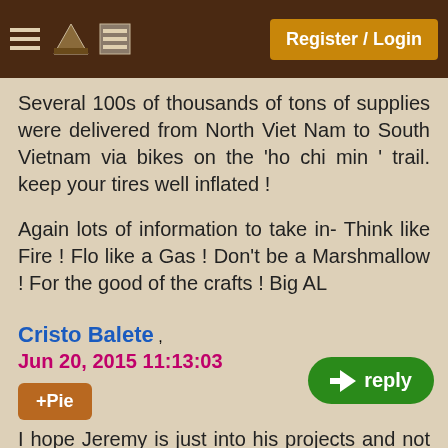Register / Login
Several 100s of thousands of tons of supplies were delivered from North Viet Nam to South Vietnam via bikes on the 'ho chi min ' trail. keep your tires well inflated !
Again lots of information to take in- Think like Fire ! Flo like a Gas ! Don't be a Marshmallow ! For the good of the crafts ! Big AL
Cristo Balete ,
Jun 20, 2015 11:13:03
+Pie
I hope Jeremy is just into his projects and not missing from this thread for any serious reason. But reading all the advice, for someone who hasn't been there before, might be enough reason to panic and sta
The thing about buying quality equipment, if we are